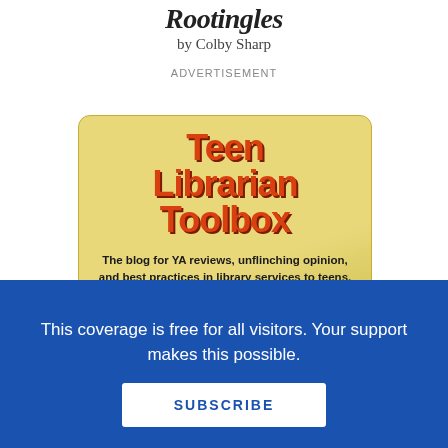Rootingles
by Colby Sharp
ADVERTISEMENT
[Figure (logo): Teen Librarian Toolbox advertisement banner. Yellow-gold rounded rectangle background with large red bold text reading 'Teen Librarian Toolbox' and black bold subtitle text: 'The blog for YA reviews, unflinching opinion, and best practices in library services to teens.']
This coverage is free for all visitors. Your support makes this possible.
SUBSCRIBE